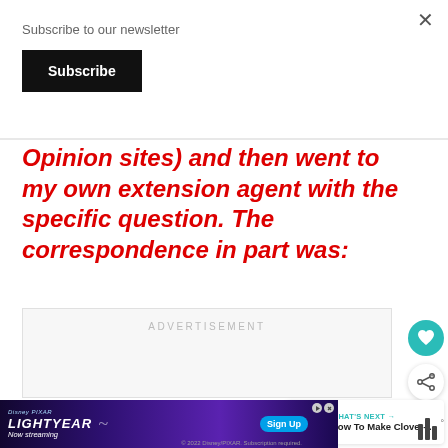Subscribe to our newsletter
Subscribe
Opinion sites) and then went to my own extension agent with the specific question. The correspondence in part was:
ADVERTISEMENT
[Figure (other): Heart/favorite button (teal circle with heart icon)]
[Figure (other): Share button (white circle with share icon)]
WHAT'S NEXT → How To Make Clover-...
[Figure (other): Bottom advertisement banner for Disney+ Lightyear — Now streaming, with Sign Up button]